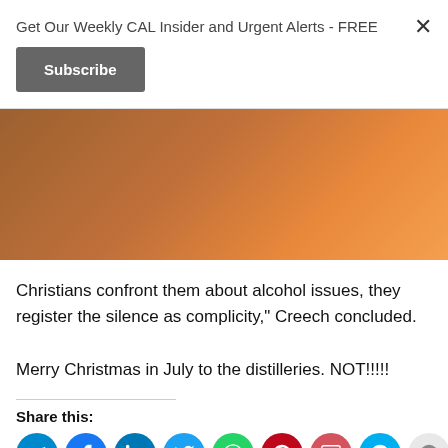Get Our Weekly CAL Insider and Urgent Alerts - FREE
Subscribe
Christians confront them about alcohol issues, they register the silence as complicity," Creech concluded.
Merry Christmas in July to the distilleries. NOT!!!!!
Share this:
[Figure (infographic): Row of social share icon buttons: Telegram, Facebook, LinkedIn, Twitter, WhatsApp, Pinterest, Pocket, Skype, Reddit]
Related